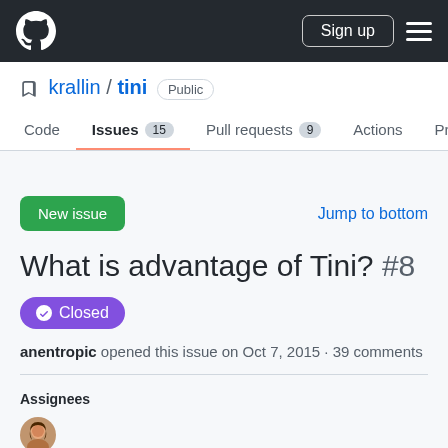GitHub navigation bar with logo, Sign up button, and menu
krallin / tini  Public
Code  Issues 15  Pull requests 9  Actions  Projects
New issue
Jump to bottom
What is advantage of Tini? #8
Closed
anentropic opened this issue on Oct 7, 2015 · 39 comments
Assignees